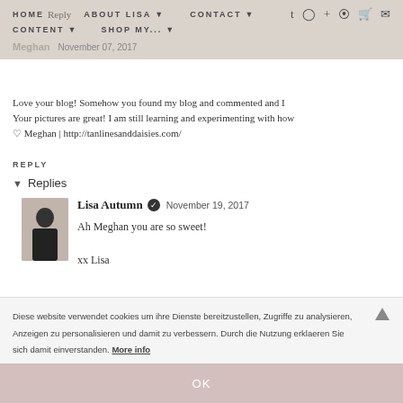HOME  Reply  ABOUT LISA  CONTACT  CONTENT  SHOP MY...
Meghan  November 07, 2017
Love your blog! Somehow you found my blog and commented and I Your pictures are great! I am still learning and experimenting with how ♡ Meghan | http://tanlinesanddaisies.com/
REPLY
Replies
Lisa Autumn  ✔  November 19, 2017
Ah Meghan you are so sweet!

xx Lisa
Diese website verwendet cookies um ihre Dienste bereitzustellen, Zugriffe zu analysieren, Anzeigen zu personalisieren und damit zu verbessern. Durch die Nutzung erklaeren Sie sich damit einverstanden. More info
OK